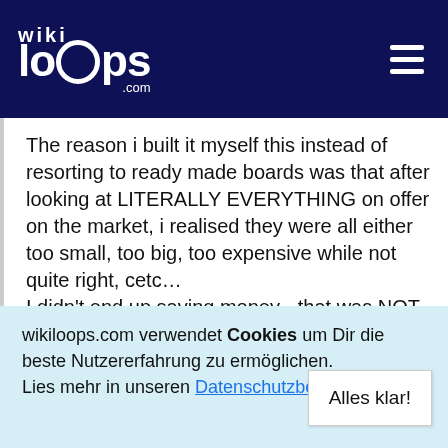wikiloops.com
The reason i built it myself this instead of resorting to ready made boards was that after looking at LITERALLY EVERYTHING on offer on the market, i realised they were all either too small, too big, too expensive while not quite right, cetc…
I didn't end up saving money - that was NOT the purpose.. - but i ended up having something perfectly suited to my needs !!
All except air travel without spending a fortune on extra luggage AND bullet proof flight cases - plus who wants to carry those anyway once arrived to your destination ?
On top of that having known someone who worked as a luggage handler, i REALLY don't trust airline companies,
wikiloops.com verwendet Cookies um Dir die beste Nutzererfahrung zu ermöglichen.
Lies mehr in unseren Datenschutzbestimmungen .